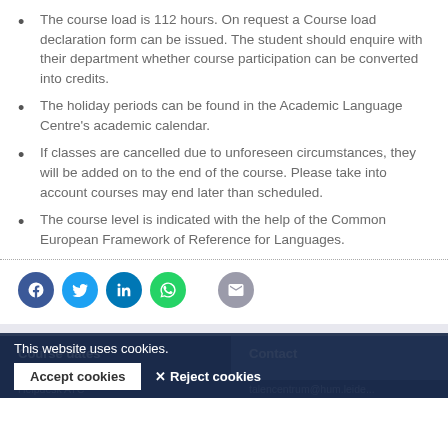The course load is 112 hours. On request a Course load declaration form can be issued. The student should enquire with their department whether course participation can be converted into credits.
The holiday periods can be found in the Academic Language Centre's academic calendar.
If classes are cancelled due to unforeseen circumstances, they will be added on to the end of the course. Please take into account courses may end later than scheduled.
The course level is indicated with the help of the Common European Framework of Reference for Languages.
[Figure (infographic): Social sharing icons: Facebook (blue), Twitter (light blue), LinkedIn (dark blue), WhatsApp (green), Email (grey)]
Course dates | Contact | This website uses cookies. | Accept cookies | Reject cookies | talencentrum@hum.leide...